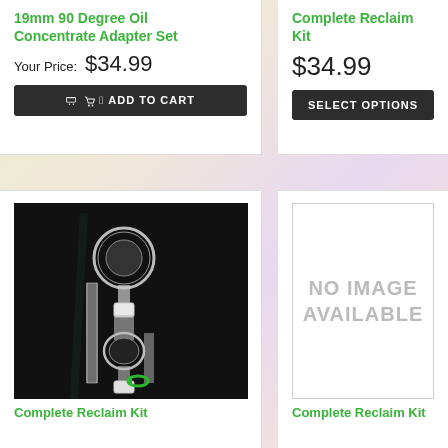19mm 90 Degree Oil Concentrate Adapter Set
Your Price:  $34.99
ADD TO CART
Complete Reclaim Kit
$34.99
SELECT OPTIONS
[Figure (photo): Glass concentrate reclaim adapter set with two glass pieces on dark background, including spherical bulb top piece and angled adapter with green silicone keck clip]
[Figure (other): No image available placeholder box]
Complete Reclaim Kit
Complete Reclaim Kit